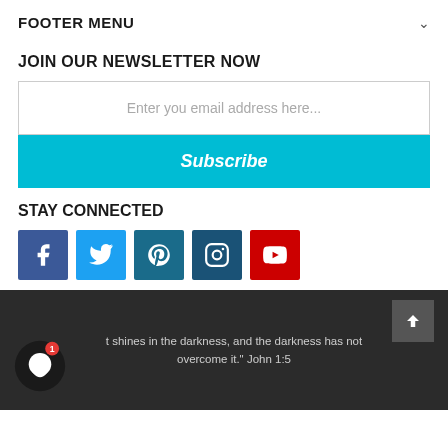FOOTER MENU
JOIN OUR NEWSLETTER NOW
Enter you email address here...
Subscribe
STAY CONNECTED
[Figure (illustration): Social media icons: Facebook, Twitter, Pinterest, Instagram, YouTube]
t shines in the darkness, and the darkness has not overcome it." John 1:5